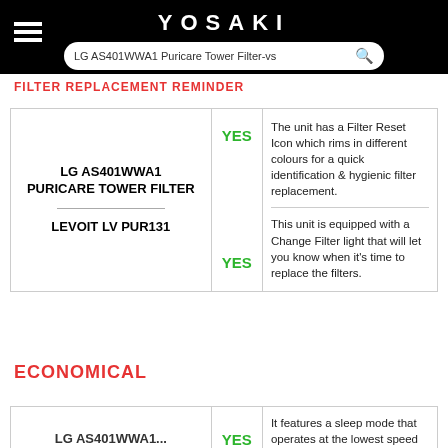YOSAKI | LG AS401WWA1 Puricare Tower Filter-vs
FILTER REPLACEMENT REMINDER
| Product | YES/NO | Description |
| --- | --- | --- |
| LG AS401WWA1 PURICARE TOWER FILTER | YES | The unit has a Filter Reset Icon which rims in different colours for a quick identification & hygienic filter replacement. |
| LEVOIT LV PUR131 | YES | This unit is equipped with a Change Filter light that will let you know when it's time to replace the filters. |
ECONOMICAL
| Product | YES/NO | Description |
| --- | --- | --- |
| LG AS401WWA1... | YES | It features a sleep mode that operates at the lowest speed to reduce... |